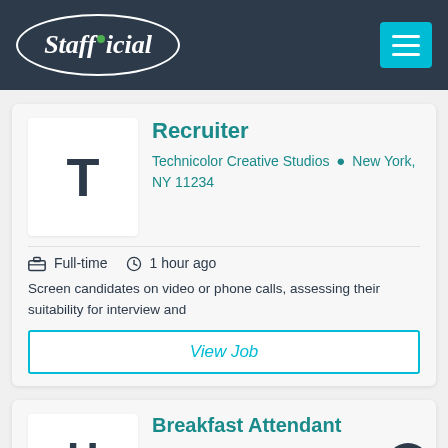Stafficial
Recruiter
Technicolor Creative Studios  New York, NY 11234
Full-time   1 hour ago
Screen candidates on video or phone calls, assessing their suitability for interview and
View Job
Breakfast Attendant
Hampton Inn Times' Square  New York, NY 10018